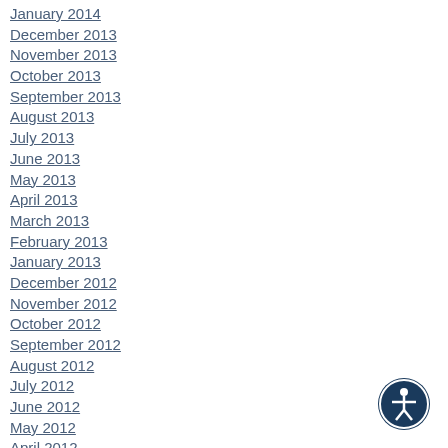January 2014
December 2013
November 2013
October 2013
September 2013
August 2013
July 2013
June 2013
May 2013
April 2013
March 2013
February 2013
January 2013
December 2012
November 2012
October 2012
September 2012
August 2012
July 2012
June 2012
May 2012
April 2012
March 2012
February 2012
[Figure (illustration): Accessibility icon - circular dark navy button with white person/accessibility symbol]